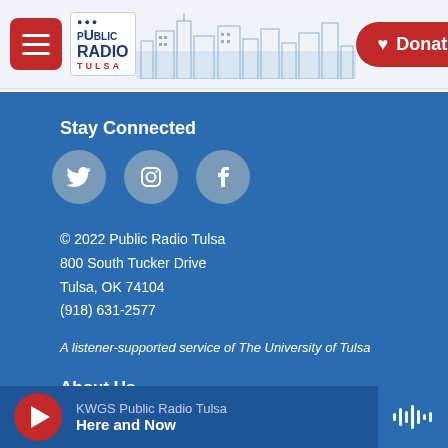[Figure (logo): Public Radio Tulsa logo with city skyline sketch and hamburger menu button]
[Figure (other): Red Donate button with heart icon]
Stay Connected
[Figure (infographic): Three social media icons: Twitter, Instagram, Facebook in beige circles]
© 2022 Public Radio Tulsa
800 South Tucker Drive
Tulsa, OK 74104
(918) 631-2577
A listener-supported service of The University of Tulsa
About Us
Business Sponsorships
KWGS Public Radio Tulsa
Here and Now